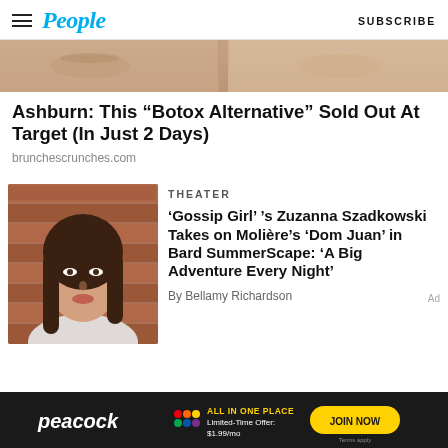People | SUBSCRIBE
[Figure (photo): Close-up photo of face/skin area cropped at top of page]
Ashburn: This “Botox Alternative” Sold Out At Target (In Just 2 Days)
brunchescrunches.com
[Figure (photo): Portrait photo of woman with dark hair in front of brick wall]
THEATER
‘Gossip Girl’ ’s Zuzanna Szadkowski Takes on Molière’s ‘Dom Juan’ in Bard SummerScape: ‘A Big Adventure Every Night’
By Bellamy Richardson
[Figure (screenshot): Peacock streaming service advertisement banner: ALL IN ONE PLACE, Limited-Time Offer: $1.99/mo, JOIN NOW, Terms apply]